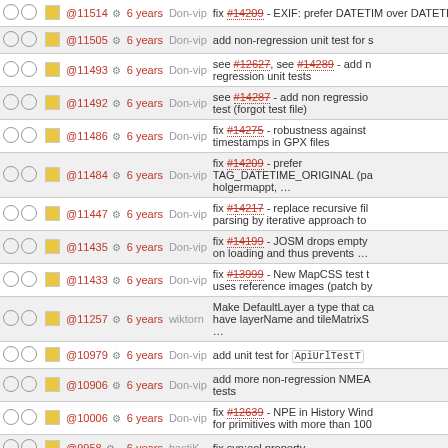|  |  | Rev | Age | Author | Message |
| --- | --- | --- | --- | --- | --- |
| ○○ | ▪ | @11514 ⚙ | 6 years | Don-vip | fix #14209 - EXIF: prefer DATETIME_ORIGINAL over DATETIME_DIGITIZED |
| ○○ | ▪ | @11505 ⚙ | 6 years | Don-vip | add non-regression unit test for s |
| ○○ | ▪ | @11493 ⚙ | 6 years | Don-vip | see #12627, see #14289 - add regression unit tests |
| ○○ | ▪ | @11492 ⚙ | 6 years | Don-vip | see #14287 - add non regression test (forgot test file) |
| ○○ | ▪ | @11486 ⚙ | 6 years | Don-vip | fix #14275 - robustness against timestamps in GPX files |
| ○○ | ▪ | @11484 ⚙ | 6 years | Don-vip | fix #14209 - prefer TAG_DATETIME_ORIGINAL (pa holgermappt, ... |
| ○○ | ▪ | @11447 ⚙ | 6 years | Don-vip | fix #14217 - replace recursive file parsing by iterative approach to |
| ○○ | ▪ | @11435 ⚙ | 6 years | Don-vip | fix #14199 - JOSM drops empty on loading and thus prevents ... |
| ○○ | ▪ | @11433 ⚙ | 6 years | Don-vip | fix #13999 - New MapCSS test t uses reference images (patch by |
| ○○ | ▪ | @11257 ⚙ | 6 years | wiktorn | Make DefaultLayer a type that ca have layerName and tileMatrixS ... |
| ○○ | ▪ | @10979 ⚙ | 6 years | Don-vip | add unit test for ApiUrlTestT |
| ○○ | ▪ | @10906 ⚙ | 6 years | Don-vip | add more non-regression NMEA tests |
| ○○ | ▪ | @10006 ⚙ | 6 years | Don-vip | fix #12639 - NPE in History Wind for primitives with more than 100 |
| ○○ | ▪ | @9958 ⚙ | 6 years | bastiK | fix svn:eol property |